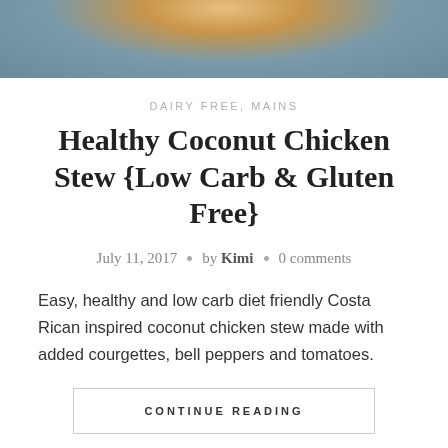[Figure (photo): Top portion of a food photo showing a bowl of stew with a blue rim on a wooden surface]
DAIRY FREE, MAINS
Healthy Coconut Chicken Stew {Low Carb & Gluten Free}
July 11, 2017 • by Kimi • 0 comments
Easy, healthy and low carb diet friendly Costa Rican inspired coconut chicken stew made with added courgettes, bell peppers and tomatoes.
CONTINUE READING